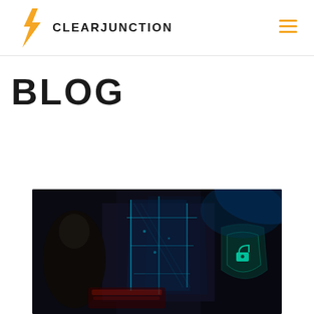ClearJunction
BLOG
[Figure (photo): Dark cybersecurity themed photo showing a person at a computer with glowing cyan holographic security shield interface overlaid, suggesting digital security or hacking context.]